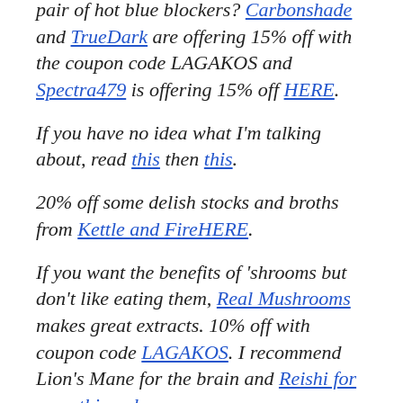pair of hot blue blockers? Carbonshade and TrueDark are offering 15% off with the coupon code LAGAKOS and Spectra479 is offering 15% off HERE.
If you have no idea what I'm talking about, read this then this.
20% off some delish stocks and broths from Kettle and FireHERE.
If you want the benefits of 'shrooms but don't like eating them, Real Mushrooms makes great extracts. 10% off with coupon code LAGAKOS. I recommend Lion's Mane for the brain and Reishi for everything else.
Join Earn.com with this link.